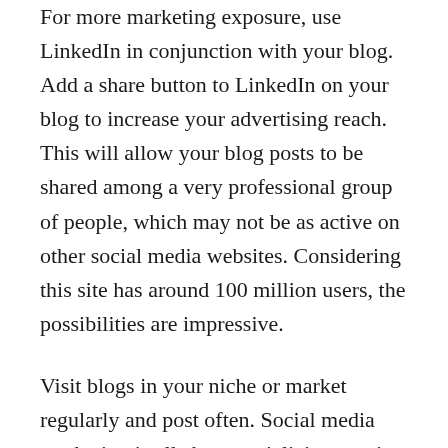For more marketing exposure, use LinkedIn in conjunction with your blog. Add a share button to LinkedIn on your blog to increase your advertising reach. This will allow your blog posts to be shared among a very professional group of people, which may not be as active on other social media websites. Considering this site has around 100 million users, the possibilities are impressive.
Visit blogs in your niche or market regularly and post often. Social media marketing is all about socializing, getting exposure and interacting with others. A great way to promote yourself is to engage others in dialogue that blog within your niche. This is a great opportunity for networking.
Finding the right way to promote your business through social media marketing will help to increase your